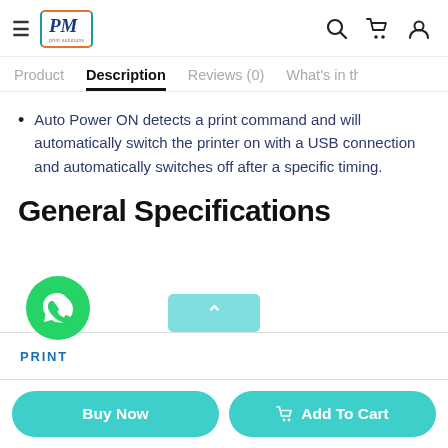PM [logo] | Search | Cart | User
Product | Description | Reviews (0) | What's in th
Auto Power ON detects a print command and will automatically switch the printer on with a USB connection and automatically switches off after a specific timing.
General Specifications
[Figure (logo): WhatsApp chat button (green circle with phone handset icon)]
[Figure (other): Scroll-up teal button with upward chevron]
PRINT
Buy Now
Add To Cart